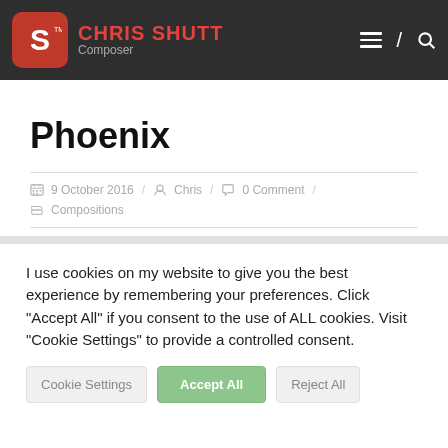CHRIS SHUTT Composer
Phoenix
9 October 2016 / Chris / 0 Comment / Compositions
I use cookies on my website to give you the best experience by remembering your preferences. Click "Accept All" if you consent to the use of ALL cookies. Visit "Cookie Settings" to provide a controlled consent.
Cookie Settings | Accept All | Reject All